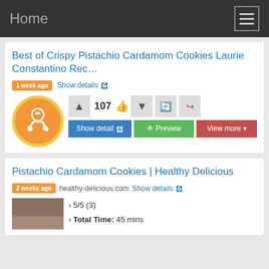Home
Best of Crispy Pistachio Cardamom Cookies Laurie Constantino Rec…
1 week ago  Show details
[Figure (logo): Orange circle with fork spoon and chef hat icon]
107  Show detail  Preview  View more
Pistachio Cardamom Cookies | Healthy Delicious
2 weeks ago  healthy-delicious.com  Show details
› 5/5 (3)
› Total Time: 45 mins